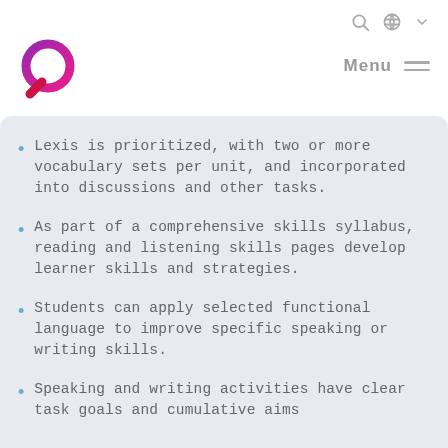Menu
[Figure (logo): Q-shaped logo in purple/pink gradient with a red tail, representing an educational publisher brand]
Lexis is prioritized, with two or more vocabulary sets per unit, and incorporated into discussions and other tasks.
As part of a comprehensive skills syllabus, reading and listening skills pages develop learner skills and strategies.
Students can apply selected functional language to improve specific speaking or writing skills.
Speaking and writing activities have clear task goals and cumulative aims